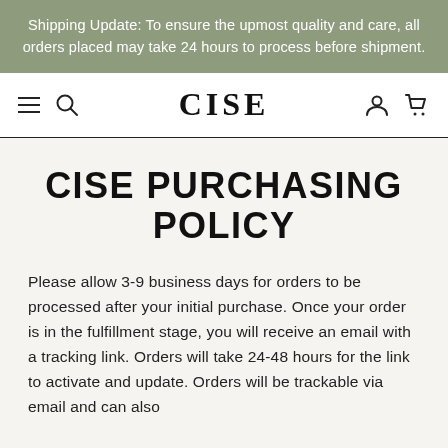Shipping Update: To ensure the upmost quality and care, all orders placed may take 24 hours to process before shipment.
[Figure (screenshot): CISE website navigation bar with hamburger menu, search icon, CISE logo, user account icon, and shopping cart icon]
CISE PURCHASING POLICY
Please allow 3-9 business days for orders to be processed after your initial purchase. Once your order is in the fulfillment stage, you will receive an email with a tracking link. Orders will take 24-48 hours for the link to activate and update. Orders will be trackable via email and can also